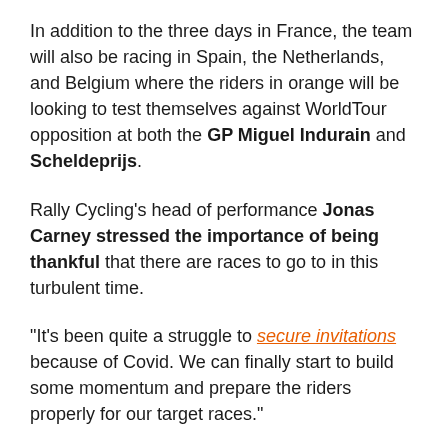In addition to the three days in France, the team will also be racing in Spain, the Netherlands, and Belgium where the riders in orange will be looking to test themselves against WorldTour opposition at both the GP Miguel Indurain and Scheldeprijs.
Rally Cycling's head of performance Jonas Carney stressed the importance of being thankful that there are races to go to in this turbulent time.
“It’s been quite a struggle to secure invitations because of Covid. We can finally start to build some momentum and prepare the riders properly for our target races.”
The lack of race days in the early part of the season may put the team on the back foot in terms of preparation, but it’s a challenge that Carney is aware of.